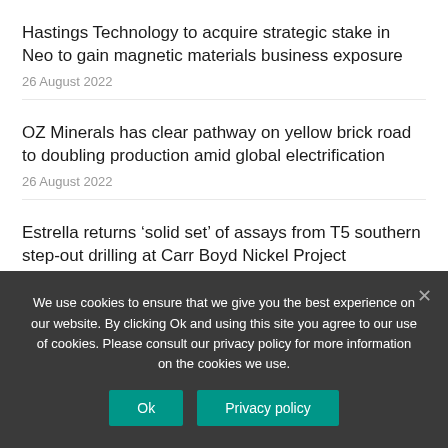Hastings Technology to acquire strategic stake in Neo to gain magnetic materials business exposure
26 August 2022
OZ Minerals has clear pathway on yellow brick road to doubling production amid global electrification
26 August 2022
Estrella returns ‘solid set’ of assays from T5 southern step-out drilling at Carr Boyd Nickel Project
We use cookies to ensure that we give you the best experience on our website. By clicking Ok and using this site you agree to our use of cookies. Please consult our privacy policy for more information on the cookies we use.